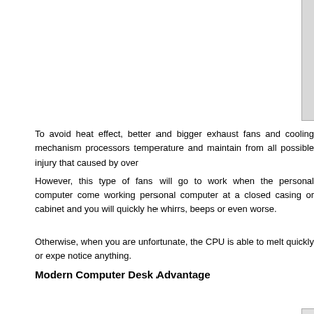[Figure (photo): Partial view of a black computer speaker or device on a white surface, cropped at top of page]
To avoid heat effect, better and bigger exhaust fans and cooling mechanism processors temperature and maintain from all possible injury that caused by over
However, this type of fans will go to work when the personal computer come working personal computer at a closed casing or cabinet and you will quickly he whirrs, beeps or even worse.
Otherwise, when you are unfortunate, the CPU is able to melt quickly or expe notice anything.
Modern Computer Desk Advantage
For a consequence, modern computer desk products should require correct pers consideration. Currently, modern computer case already has a special place to p that can be dismantled easily. As a result, modern desks for computers could be good just to glance.
[Figure (photo): Partial view of a computer monitor showing a car image and a printer or device, cropped at bottom of page]